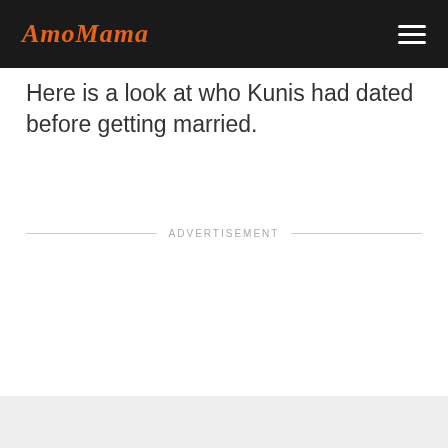AmoMama
Here is a look at who Kunis had dated before getting married.
ADVERTISEMENT